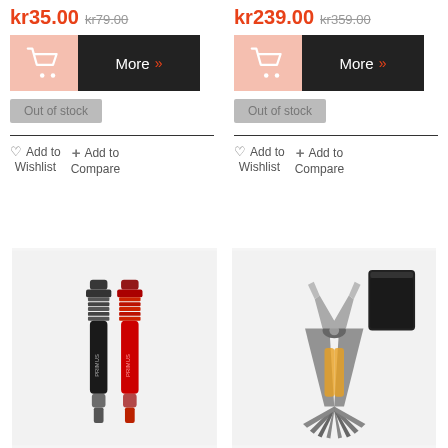kr35.00 kr79.00
[Figure (screenshot): Shopping cart button and More button for first product]
Out of stock
Add to Wishlist   Add to Compare
kr239.00 kr359.00
[Figure (screenshot): Shopping cart button and More button for second product]
Out of stock
Add to Wishlist   Add to Compare
[Figure (photo): Two slim metal devices (black and red) standing upright, resembling pens or tools]
[Figure (photo): A multi-tool plier with black case/pouch next to it]